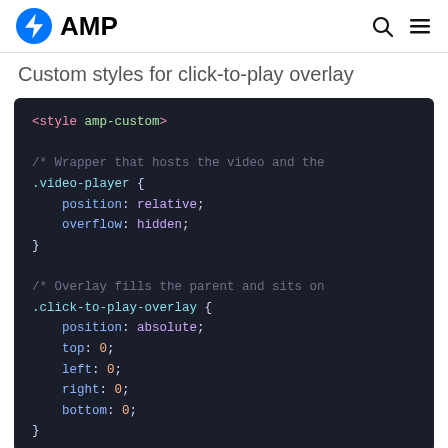AMP
Custom styles for click-to-play overlay
[Figure (screenshot): Dark-themed code block showing CSS code with <style amp-custom> tag, .video-player { position: relative; overflow: hidden; } and .click-to-play-overlay { position: absolute; top: 0; left: 0; right: 0; bottom: 0; }]